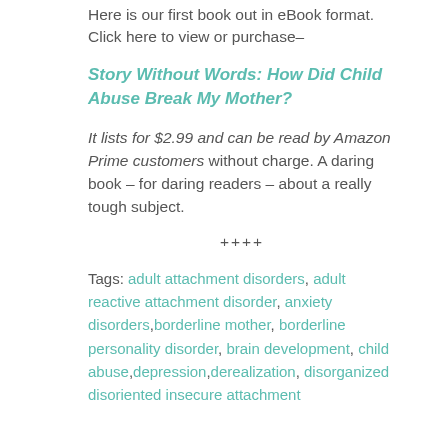Here is our first book out in eBook format.  Click here to view or purchase–
Story Without Words:  How Did Child Abuse Break My Mother?
It lists for $2.99 and can be read by Amazon Prime customers without charge.  A daring book –  for daring readers – about a really tough subject.
++++
Tags: adult attachment disorders, adult reactive attachment disorder, anxiety disorders,borderline mother, borderline personality disorder, brain development, child abuse,depression,derealization, disorganized disoriented insecure attachment